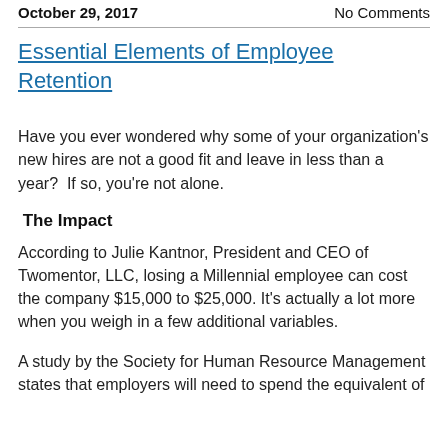October 29, 2017    No Comments
Essential Elements of Employee Retention
Have you ever wondered why some of your organization's new hires are not a good fit and leave in less than a year?  If so, you're not alone.
The Impact
According to Julie Kantnor, President and CEO of Twomentor, LLC, losing a Millennial employee can cost the company $15,000 to $25,000. It's actually a lot more when you weigh in a few additional variables.
A study by the Society for Human Resource Management states that employers will need to spend the equivalent of